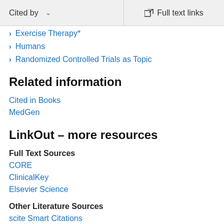Cited by   Full text links
Exercise Therapy*
Humans
Randomized Controlled Trials as Topic
Related information
Cited in Books
MedGen
LinkOut – more resources
Full Text Sources
CORE
ClinicalKey
Elsevier Science
Other Literature Sources
scite Smart Citations